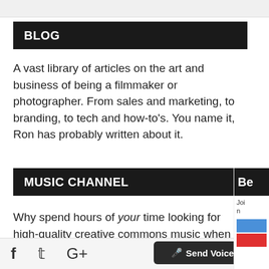BLOG
A vast library of articles on the art and business of being a filmmaker or photographer. From sales and marketing, to branding, to tech and how-to's. You name it, Ron has probably written about it.
MUSIC CHANNEL
Why spend hours of your time looking for high-quality creative commons music when we've already done all the work? Our production team sp...